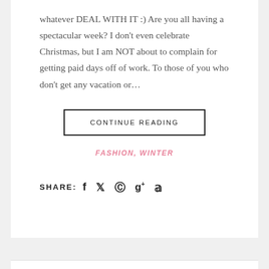whatever DEAL WITH IT :) Are you all having a spectacular week? I don't even celebrate Christmas, but I am NOT about to complain for getting paid days off of work. To those of you who don't get any vacation or…
CONTINUE READING
FASHION, WINTER
SHARE: f ♥ ℗ g+ ↯